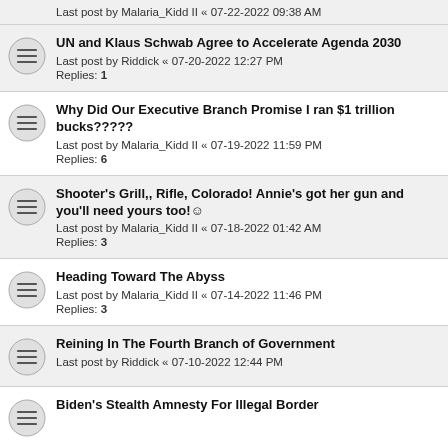Last post by Malaria_Kidd II « 07-22-2022 09:38 AM
UN and Klaus Schwab Agree to Accelerate Agenda 2030
Last post by Riddick « 07-20-2022 12:27 PM
Replies: 1
Why Did Our Executive Branch Promise I ran $1 trillion bucks?????
Last post by Malaria_Kidd II « 07-19-2022 11:59 PM
Replies: 6
Shooter's Grill,, Rifle, Colorado! Annie's got her gun and you'll need yours too!☺
Last post by Malaria_Kidd II « 07-18-2022 01:42 AM
Replies: 3
Heading Toward The Abyss
Last post by Malaria_Kidd II « 07-14-2022 11:46 PM
Replies: 3
Reining In The Fourth Branch of Government
Last post by Riddick « 07-10-2022 12:44 PM
Biden's Stealth Amnesty For Illegal Border